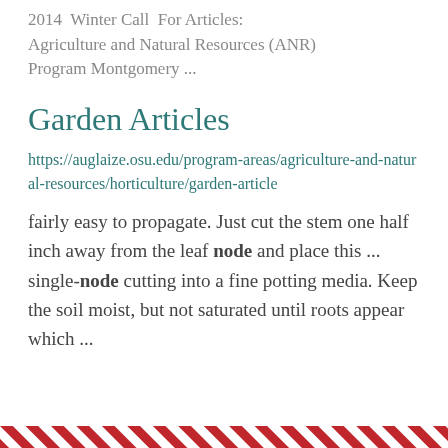2014 Winter Call For Articles: Agriculture and Natural Resources (ANR) Program Montgomery ...
Garden Articles
https://auglaize.osu.edu/program-areas/agriculture-and-natural-resources/horticulture/garden-article
fairly easy to propagate. Just cut the stem one half inch away from the leaf node and place this ... single-node cutting into a fine potting media. Keep the soil moist, but not saturated until roots appear which ...